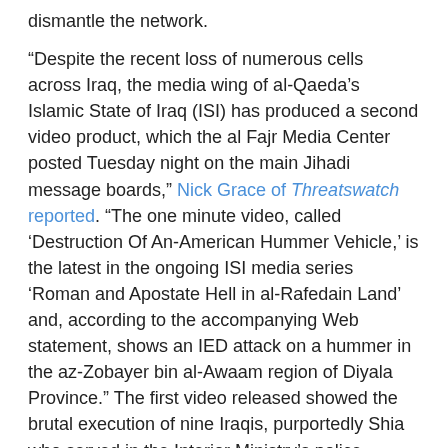dismantle the network.
“Despite the recent loss of numerous cells across Iraq, the media wing of al-Qaeda’s Islamic State of Iraq (ISI) has produced a second video product, which the al Fajr Media Center posted Tuesday night on the main Jihadi message boards,” Nick Grace of Threatswatch reported. “The one minute video, called ‘Destruction Of An-American Hummer Vehicle,’ is the latest in the ongoing ISI media series ‘Roman and Apostate Hell in al-Rafedain Land’ and, according to the accompanying Web statement, shows an IED attack on a hummer in the az-Zobayer bin al-Awaam region of Diyala Province.” The first video released showed the brutal execution of nine Iraqis, purportedly Shia who served in the Interior Ministry’s police commando unit in Diyala province.
[Figure (photo): A still image from a video showing figures in an outdoor setting, with Arabic text caption bar at the bottom in red.]
Image from